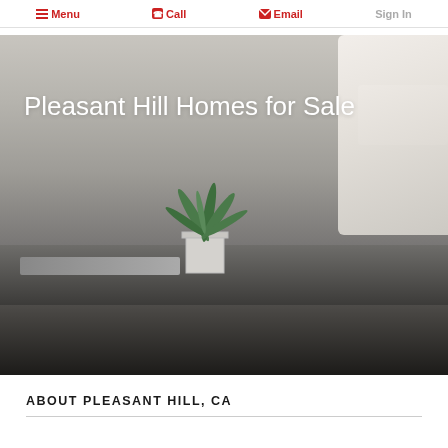Menu  Call  Email  Sign In
[Figure (photo): Hero image of a living room interior with a potted plant on a coffee table beside a cream sofa, with overlaid text 'Pleasant Hill Homes for Sale']
Pleasant Hill Homes for Sale
ABOUT PLEASANT HILL, CA